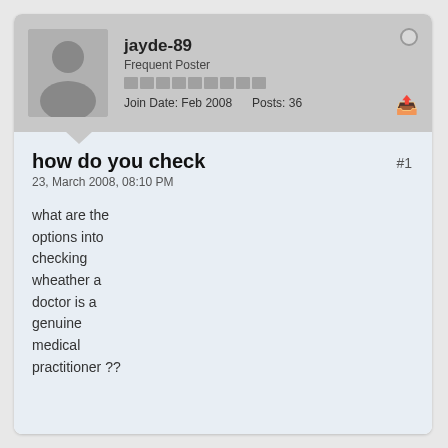jayde-89
Frequent Poster
Join Date: Feb 2008   Posts: 36
how do you check
23, March 2008, 08:10 PM
what are the options into checking wheather a doctor is a genuine medical practitioner ??